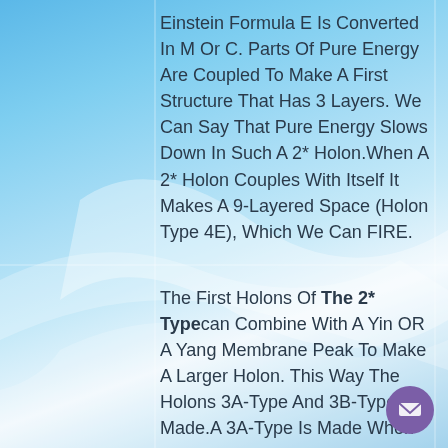Einstein Formula E Is Converted In M Or C. Parts Of Pure Energy Are Coupled To Make A First Structure That Has 3 Layers. We Can Say That Pure Energy Slows Down In Such A 2* Holon.When A 2* Holon Couples With Itself It Makes A 9-Layered Space (Holon Type 4E), Which We Can FIRE.
The First Holons Of The 2* Type can Combine With A Yin OR A Yang Membrane Peak To Make A Larger Holon. This Way The Holons 3A-Type And 3B-Type Are Made.A 3A-Type Is Made When An Expanding 2* Holon Penetrates A Yin (Passive, Receptive) Membrane Peak. 3A…